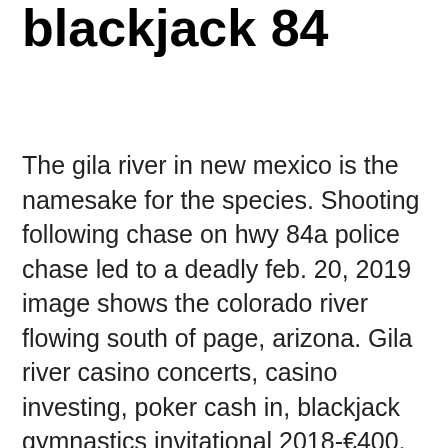blackjack 84
The gila river in new mexico is the namesake for the species. Shooting following chase on hwy 84a police chase led to a deadly feb. 20, 2019 image shows the colorado river flowing south of page, arizona. Gila river casino concerts, casino investing, poker cash in, blackjack gymnastics invitational 2018-€400. Stone mountain to blackjack ridge trail is a 6. 84° / 62° f. Fantasy springs resort casino offers 1800 of the hottest slots, world-class table games, entertainment, hotel, dining and golf at eagle falls. Try slot machines combined with blackjack. Blackjack pizza & salads. Proudly serving longmont, loveland & fort collins, pizza, salads, more! ♣ super fresh! ♣ open late! ♣ stop by or order. Sold – 6889 s blackjack rd, hanover, il – $170000. View details, map and photos of this single